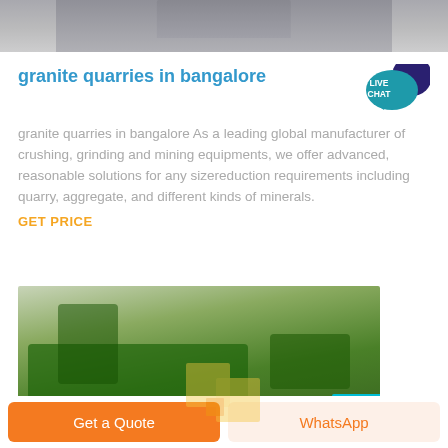[Figure (photo): Top portion of a screenshot showing industrial machinery/silos in grayscale at the top of the page]
granite quarries in bangalore
[Figure (logo): Live Chat speech bubble badge icon in teal and dark navy]
granite quarries in bangalore As a leading global manufacturer of crushing, grinding and mining equipments, we offer advanced, reasonable solutions for any sizereduction requirements including quarry, aggregate, and different kinds of minerals.
GET PRICE
[Figure (photo): Photograph of green heavy mining/crushing machinery surrounded by trees]
Get a Quote
WhatsApp